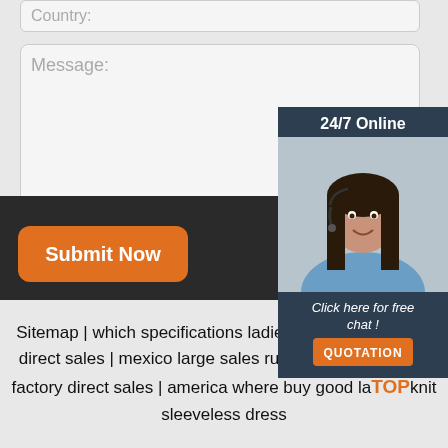Country:
Message:
Submit Now
[Figure (screenshot): 24/7 Online chat widget with a woman wearing a headset, click here for free chat, QUOTATION button]
Sitemap | which specifications ladies crop pants factory direct sales | mexico large sales ruffel waistband pants factory direct sales | america where buy good lace knit sleeveless dress